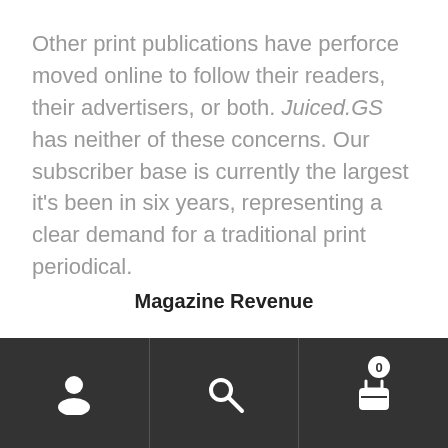Other print publications have perforce moved online to follow their readers, their advertisers, or both. Juiced.GS has neither of these concerns. Our subscriber base is currently the largest it's been in six years, representing a clear demand for a traditional print periodical.
As for advertisers, most magazines' revenue sources break down like this:
[Figure (pie-chart): Partially visible pie chart showing Magazine Revenue with at least two slices visible: red and green. Chart is cropped at the bottom of the page.]